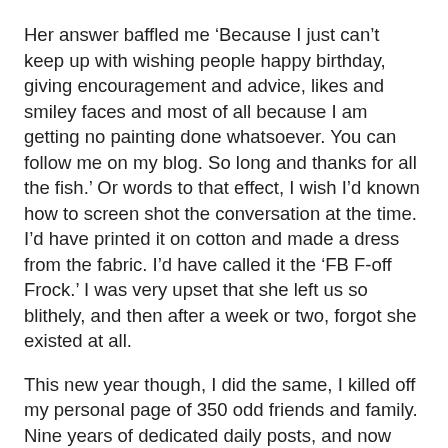Her answer baffled me ‘Because I just can’t keep up with wishing people happy birthday, giving encouragement and advice, likes and smiley faces and most of all because I am getting no painting done whatsoever. You can follow me on my blog. So long and thanks for all the fish.’ Or words to that effect, I wish I’d known how to screen shot the conversation at the time. I’d have printed it on cotton and made a dress from the fabric. I’d have called it the ‘FB F-off Frock.’ I was very upset that she left us so blithely, and then after a week or two, forgot she existed at all.
This new year though, I did the same, I killed off my personal page of 350 odd friends and family.
Nine years of dedicated daily posts, and now I’ve gone from their news feed- if they ever saw me at all amongst the torrential algorithmic news, fake news, and relentless advertising. I put a much less attention-grabbing headline as a post, murmuring that I was going to take a break. A few people replied with ‘yeah right’ because I’ve said this before and then I’m back two days later. I have no self-control.
Unable to just log in and out once a week, I suspended my